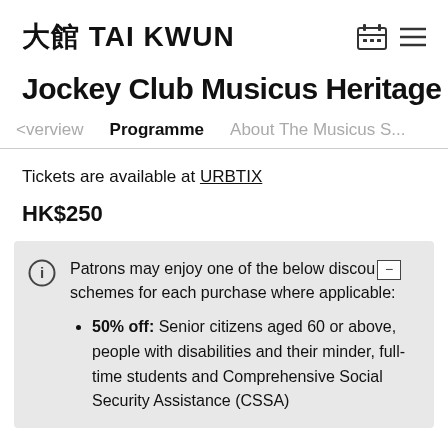大館 TAI KWUN
Jockey Club Musicus Heritage Alive Co
Overview   Programme   About The Musicus S...
Tickets are available at URBTIX
HK$250
Patrons may enjoy one of the below discount schemes for each purchase where applicable:
50% off: Senior citizens aged 60 or above, people with disabilities and their minder, full-time students and Comprehensive Social Security Assistance (CSSA)